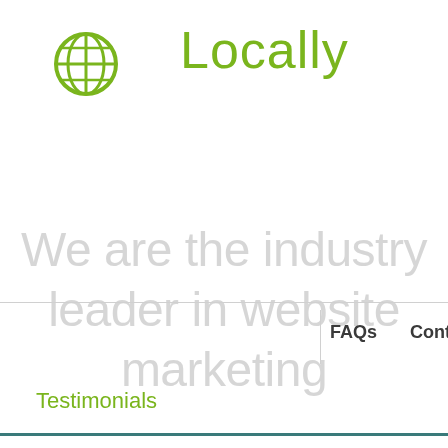[Figure (logo): Green globe/earth icon outline with grid lines]
Locally
We are the industry leader in website marketing
FAQs
Conta
Testimonials